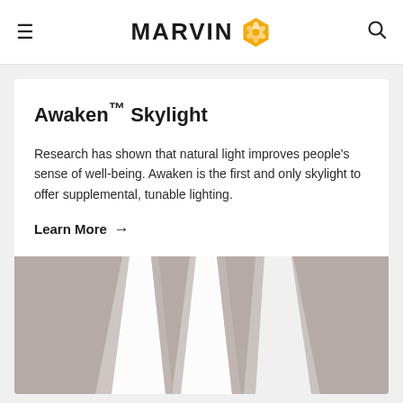MARVIN
Awaken™ Skylight
Research has shown that natural light improves people's sense of well-being. Awaken is the first and only skylight to offer supplemental, tunable lighting.
Learn More →
[Figure (photo): Interior view looking up at Awaken skylight with bright light panels visible through tapered architectural framing elements against a neutral ceiling.]